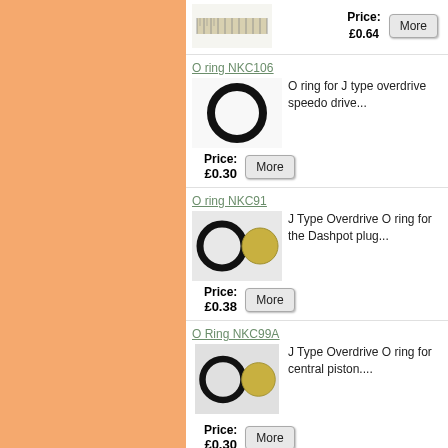[Figure (photo): Product image of a ruler/gauge strip]
Price: £0.64
More
O ring NKC106
[Figure (photo): Photo of a black O ring on white background]
O ring for J type overdrive speedo drive...
Price: £0.30
More
O ring NKC91
[Figure (photo): Photo of a black O ring next to a coin]
J Type Overdrive O ring for the Dashpot plug...
Price: £0.38
More
O Ring NKC99A
[Figure (photo): Photo of a black O ring next to a coin]
J Type Overdrive O ring for central piston....
Price: £0.30
More
O Ring Overdrive NKC92